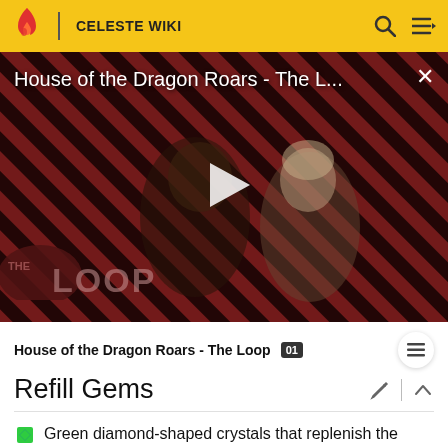CELESTE WIKI
[Figure (screenshot): Video thumbnail for 'House of the Dragon Roars - The L...' showing two characters from House of the Dragon against a red and black diagonal striped background with 'THE LOOP' logo overlay and a play button in the center.]
House of the Dragon Roars - The Loop
Refill Gems
Green diamond-shaped crystals that replenish the